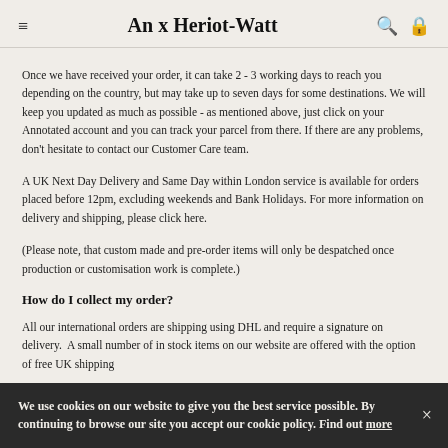An x Heriot-Watt
Once we have received your order, it can take 2 - 3 working days to reach you depending on the country, but may take up to seven days for some destinations. We will keep you updated as much as possible - as mentioned above, just click on your Annotated account and you can track your parcel from there. If there are any problems, don't hesitate to contact our Customer Care team.
A UK Next Day Delivery and Same Day within London service is available for orders placed before 12pm, excluding weekends and Bank Holidays. For more information on delivery and shipping, please click here.
(Please note, that custom made and pre-order items will only be despatched once production or customisation work is complete.)
How do I collect my order?
All our international orders are shipping using DHL and require a signature on delivery.  A small number of in stock items on our website are offered with the option of free UK shipping
We use cookies on our website to give you the best service possible. By continuing to browse our site you accept our cookie policy. Find out more